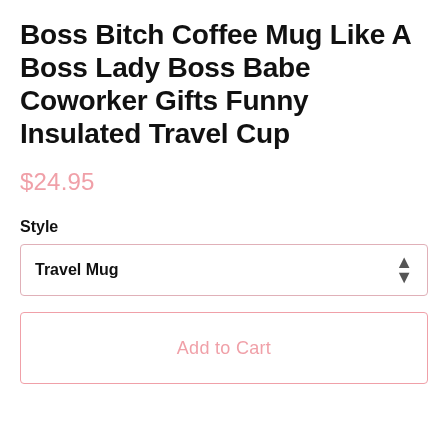Boss Bitch Coffee Mug Like A Boss Lady Boss Babe Coworker Gifts Funny Insulated Travel Cup
$24.95
Style
Travel Mug
Add to Cart